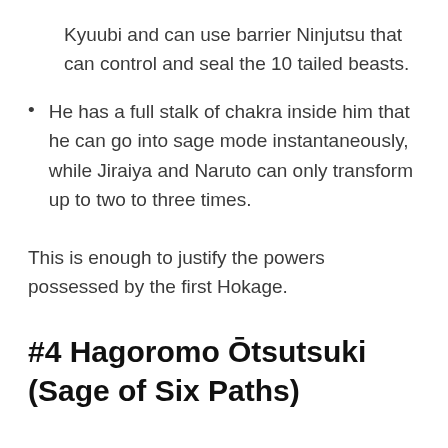Kyuubi and can use barrier Ninjutsu that can control and seal the 10 tailed beasts.
He has a full stalk of chakra inside him that he can go into sage mode instantaneously, while Jiraiya and Naruto can only transform up to two to three times.
This is enough to justify the powers possessed by the first Hokage.
#4 Hagoromo Ōtsutsuki (Sage of Six Paths)